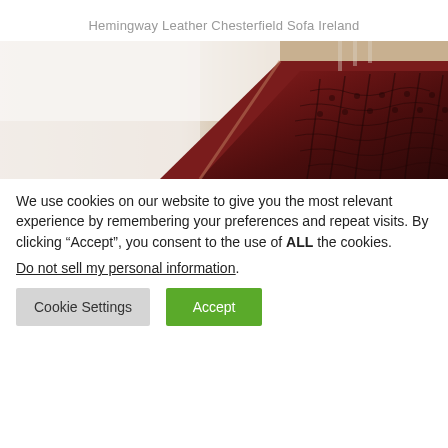Hemingway Leather Chesterfield Sofa Ireland
[Figure (photo): Close-up photo of a dark red/burgundy leather Chesterfield sofa with tufted back, positioned diagonally in a room with white walls. The left side of the image is light/overexposed showing the room background, while the right side shows the deep red leather sofa detail.]
We use cookies on our website to give you the most relevant experience by remembering your preferences and repeat visits. By clicking “Accept”, you consent to the use of ALL the cookies.
Do not sell my personal information.
Cookie Settings | Accept